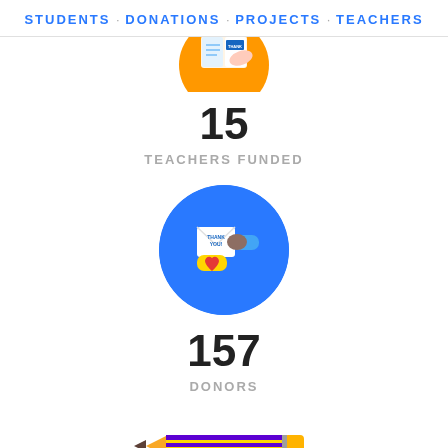STUDENTS · DONATIONS · PROJECTS · TEACHERS
[Figure (illustration): Partial orange circle icon with a teacher/student illustration (book and hands), cropped at top]
15
TEACHERS FUNDED
[Figure (illustration): Blue circle icon showing two hands exchanging a thank-you card with a heart]
157
DONORS
[Figure (illustration): Yellow and purple pencil icon]